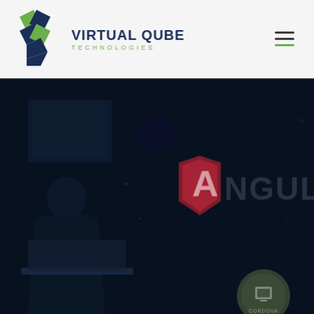[Figure (logo): Virtual Qube Technologies logo with diamond shapes in dark blue and green]
VIRTUAL QUBE TECHNOLOGIES
[Figure (screenshot): Dark hero section with a person using a laptop in a dark blue overlay, Angular logo shield with letter A, and text 'ANGULA' visible, with a Cordova circular badge in the bottom right]